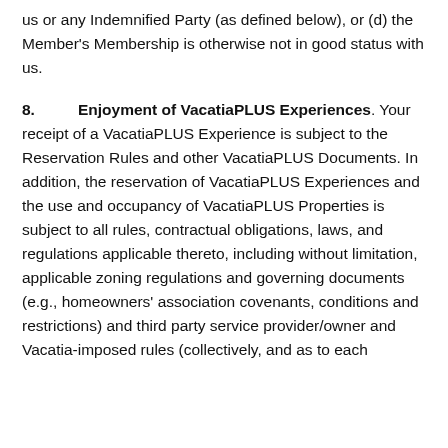us or any Indemnified Party (as defined below), or (d) the Member's Membership is otherwise not in good status with us.
8.          Enjoyment of VacatiaPLUS Experiences
. Your receipt of a VacatiaPLUS Experience is subject to the Reservation Rules and other VacatiaPLUS Documents. In addition, the reservation of VacatiaPLUS Experiences and the use and occupancy of VacatiaPLUS Properties is subject to all rules, contractual obligations, laws, and regulations applicable thereto, including without limitation, applicable zoning regulations and governing documents (e.g., homeowners' association covenants, conditions and restrictions) and third party service provider/owner and Vacatia-imposed rules (collectively, and as to each